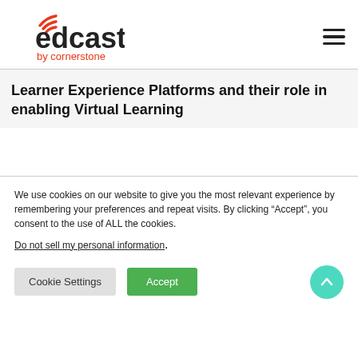[Figure (logo): EdCast by Cornerstone logo with wifi/signal arc icon in red and dark text]
Learner Experience Platforms and their role in enabling Virtual Learning
We use cookies on our website to give you the most relevant experience by remembering your preferences and repeat visits. By clicking “Accept”, you consent to the use of ALL the cookies.
Do not sell my personal information.
Cookie Settings  Accept